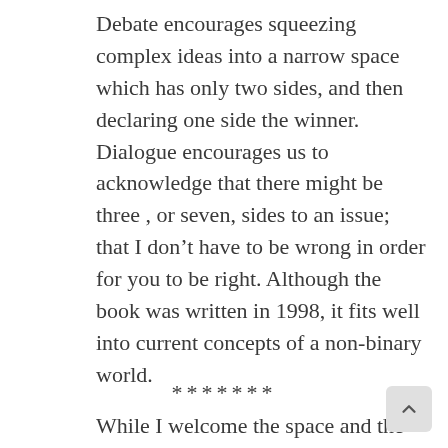Debate encourages squeezing complex ideas into a narrow space which has only two sides, and then declaring one side the winner. Dialogue encourages us to acknowledge that there might be three , or seven, sides to an issue; that I don't have to be wrong in order for you to be right. Although the book was written in 1998, it fits well into current concepts of a non-binary world.
*******
While I welcome the space and the discussion that cancelling